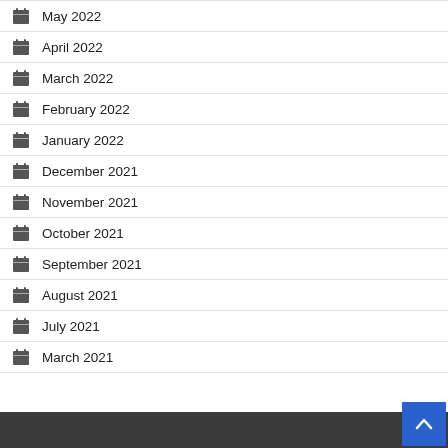May 2022
April 2022
March 2022
February 2022
January 2022
December 2021
November 2021
October 2021
September 2021
August 2021
July 2021
March 2021